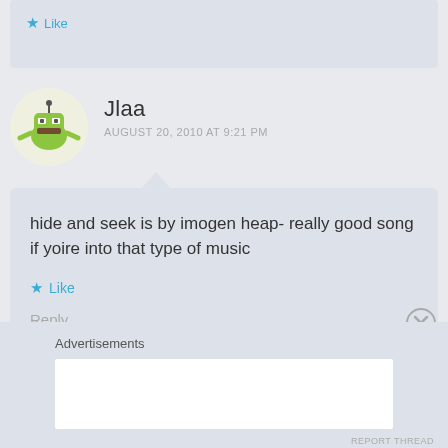Like
Jlaa
AUGUST 20, 2010 AT 9:21 PM
hide and seek is by imogen heap- really good song if yoire into that type of music
Like
Reply
Advertisements